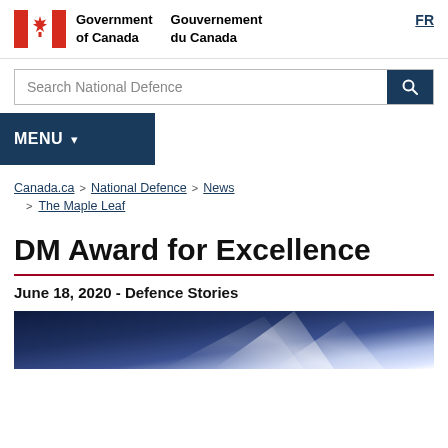[Figure (logo): Government of Canada / Gouvernement du Canada bilingual header logo with Canadian flag symbol]
Government of Canada   Gouvernement du Canada
FR
Search National Defence
MENU
Canada.ca > National Defence > News > The Maple Leaf
DM Award for Excellence
June 18, 2020 - Defence Stories
[Figure (photo): Blue and white abstract background image, partial view at bottom of page]